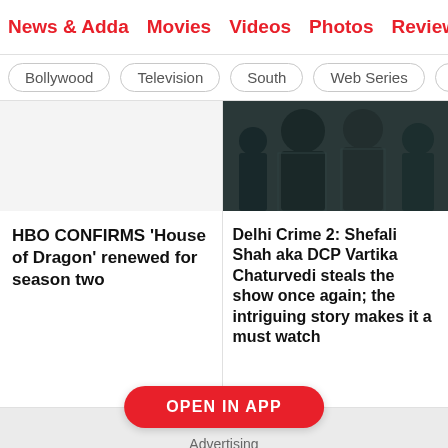News & Adda  Movies  Videos  Photos  Reviews  Box
Bollywood
Television
South
Web Series
Inte
[Figure (photo): Partial dark image of a person in a leather jacket, top of article card for Delhi Crime 2]
HBO CONFIRMS ‘House of Dragon’ renewed for season two
Delhi Crime 2: Shefali Shah aka DCP Vartika Chaturvedi steals the show once again; the intriguing story makes it a must watch
OPEN IN APP
Advertising